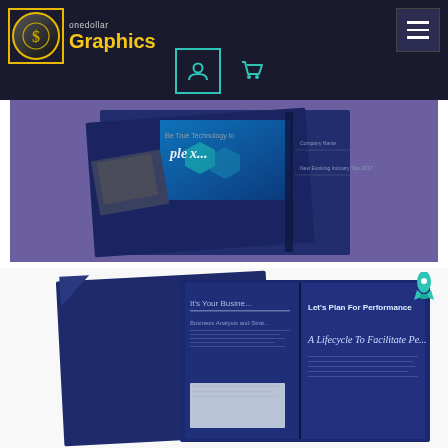[Figure (logo): OneDollar Graphics logo with dollar sign circle and yellow text on dark background]
[Figure (screenshot): Website screenshot showing two brochure/booklet product images on a purple and white background. Top image shows a dark blue technology-themed brochure with text 'Be True Technology to plex...' and hexagonal design. Bottom image shows an open dark blue booklet with text 'It's Your Busine...' and 'Let's Plan For Performance' and 'A Lifecycle To Facilitate Pe...']